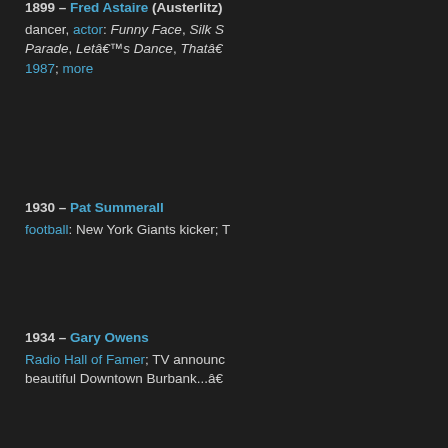1899 – Fred Astaire (Austerlitz) dancer, actor: Funny Face, Silk Stocking Parade, Let's Dance, That's Entertainment 1987; more
1930 – Pat Summerall football: New York Giants kicker; TV...
1934 – Gary Owens Radio Hall of Famer; TV announcer beautiful Downtown Burbank...â€
1941 – Ken (Allen Kent) Berry baseball: Chicago White Sox [all-s... Indians
1946 – Donovan (Leitch) singer: Mellow Yellow, Sunshine S... Must Be Belgium, appeared in film...
1948 – Meg Foster actress: Undercover, Lady in Wai... Forest, Carny, James Dean, Ada... Oâ€™Neill